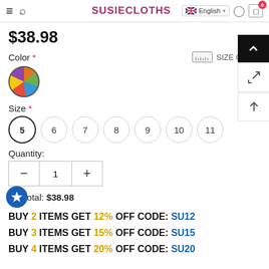SUSIECLOTHES — English navigation bar with hamburger, search, account, cart
$38.98
Color *
[Figure (illustration): Color swatch circle showing multicolor pattern]
SIZE GUIDE
Size *
Size options: 5 (selected), 6, 7, 8, 9, 10, 11
Quantity:
Subtotal: $38.98
BUY 2 ITEMS GET 12% OFF CODE: SU12
BUY 3 ITEMS GET 15% OFF CODE: SU15
BUY 4 ITEMS GET 20% OFF CODE: SU20